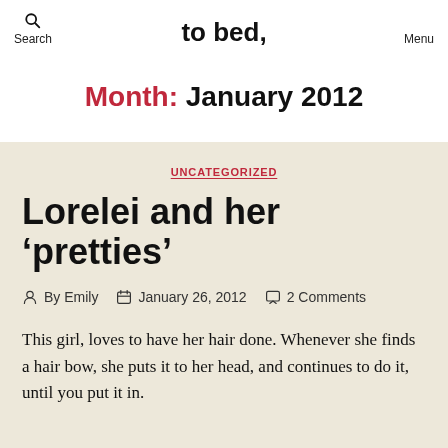Search | to bed, | Menu
Month: January 2012
UNCATEGORIZED
Lorelei and her ‘pretties’
By Emily | January 26, 2012 | 2 Comments
This girl, loves to have her hair done. Whenever she finds a hair bow, she puts it to her head, and continues to do it, until you put it in.